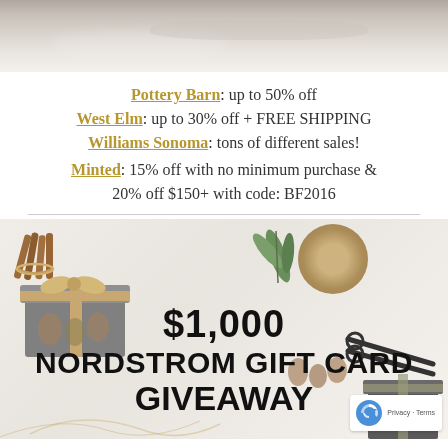[Figure (photo): Top portion of a lifestyle/home decor photo showing a textured fabric or linen surface, partially cropped]
Pottery Barn: up to 50% off
West Elm: up to 30% off + FREE SHIPPING
Williams Sonoma: tons of different sales!
Minted: 15% off with no minimum purchase & 20% off $150+ with code: BF2016
[Figure (photo): $1,000 Nordstrom Gift Card Giveaway promotional image with gift boxes, pine cones, twine spool, scissors, and cinnamon sticks on a light background, with bold black text overlay reading '$1,000 NORDSTROM GIFT CARD GIVEAWAY']